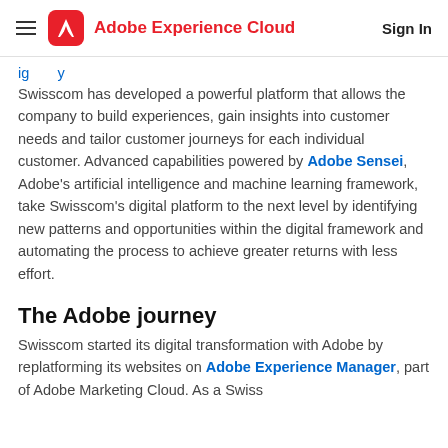Adobe Experience Cloud  Sign In
Swisscom has developed a powerful platform that allows the company to build experiences, gain insights into customer needs and tailor customer journeys for each individual customer. Advanced capabilities powered by Adobe Sensei, Adobe’s artificial intelligence and machine learning framework, take Swisscom’s digital platform to the next level by identifying new patterns and opportunities within the digital framework and automating the process to achieve greater returns with less effort.
The Adobe journey
Swisscom started its digital transformation with Adobe by replatforming its websites on Adobe Experience Manager, part of Adobe Marketing Cloud. As a Swiss